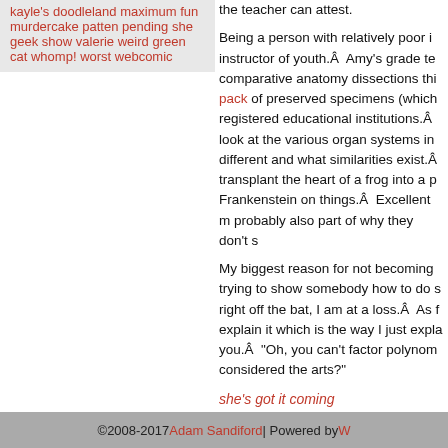kayle's doodleland
maximum fun
murdercake
patten pending
she geek show
valerie
weird green cat
whomp!
worst webcomic
the teacher can attest.
Being a person with relatively poor i... instructor of youth.Â  Amy's grade te... comparative anatomy dissections thi... pack of preserved specimens (which registered educational institutions.Â look at the various organ systems in different and what similarities exist.Â transplant the heart of a frog into a p Frankenstein on things.Â  Excellent m probably also part of why they don't s
My biggest reason for not becoming trying to show somebody how to do s right off the bat, I am at a loss.Â  As f explain it which is the way I just expla you.Â  “Oh, you can't factor polynom considered the arts?”
she’s got it coming
└ Tags: careers to skip, discriminatory shipp...
©2008-2017 Adam Sandiford | Powered by W...